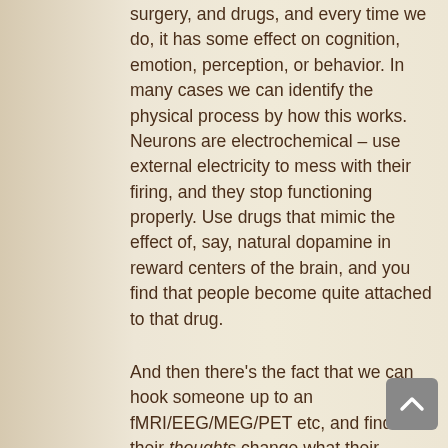surgery, and drugs, and every time we do, it has some effect on cognition, emotion, perception, or behavior. In many cases we can identify the physical process by how this works. Neurons are electrochemical – use external electricity to mess with their firing, and they stop functioning properly. Use drugs that mimic the effect of, say, natural dopamine in reward centers of the brain, and you find that people become quite attached to that drug.
And then there's the fact that we can hook someone up to an fMRI/EEG/MEG/PET etc, and find that their thoughts change what their hemodynamic response/brainwaves look like. When people study a list of words and are asked to recognize those words later, activity in areas of the brain involved with long-term memory is lesser if the person cannot recall the word. Activity is greater if they can. We can see people's brains working (or not working) to